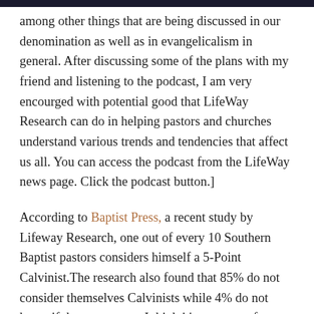...among other things that are being discussed in our denomination as well as in evangelicalism in general. After discussing some of the plans with my friend and listening to the podcast, I am very encourged with potential good that LifeWay Research can do in helping pastors and churches understand various trends and tendencies that affect us all. You can access the podcast from the LifeWay news page. Click the podcast button.]
According to Baptist Press, a recent study by Lifeway Research, one out of every 10 Southern Baptist pastors considers himself a 5-Point Calvinist.The research also found that 85% do not consider themselves Calvinists while 4% do not know if they are or not. I think it's a pretty safe assumption that that latter group aren't either.